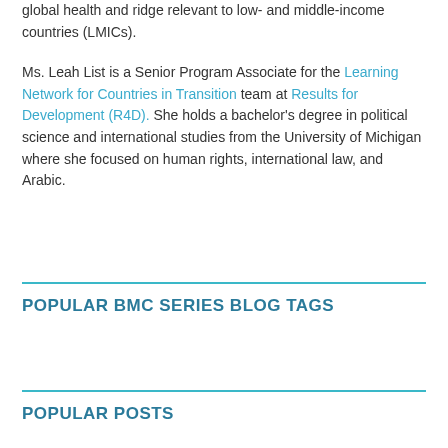global health andidge relevant to low- and middle-income countries (LMICs).
Ms. Leah List is a Senior Program Associate for the Learning Network for Countries in Transition team at Results for Development (R4D). She holds a bachelor's degree in political science and international studies from the University of Michigan where she focused on human rights, international law, and Arabic.
POPULAR BMC SERIES BLOG TAGS
POPULAR POSTS